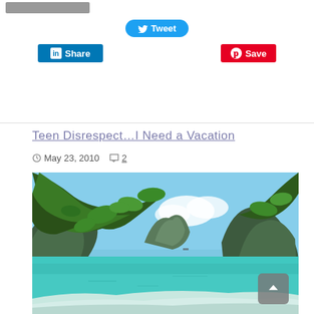[Figure (screenshot): Social media sharing buttons: Tweet (Twitter, blue rounded), Share (LinkedIn, blue square), Save (Pinterest, red)]
Teen Disrespect…I Need a Vacation
May 23, 2010  💬 2
[Figure (photo): Tropical beach and lagoon photo viewed through tree branches. Turquoise water, limestone karst formations in the background, clear blue sky, sandy beach in foreground.]